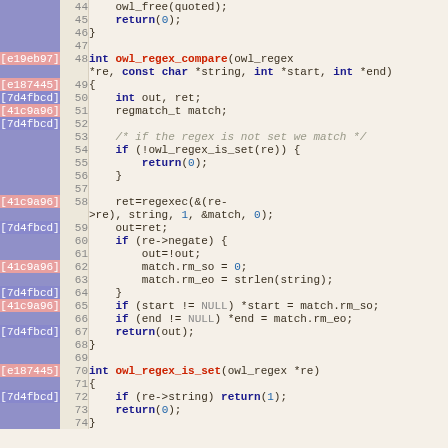[Figure (screenshot): Source code viewer showing C code for owl_regex functions with git blame annotations (commit hashes in left column), line numbers, and syntax highlighting. Lines 44-74 visible.]